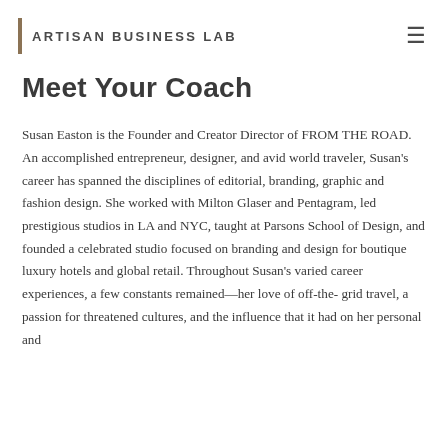ARTISAN BUSINESS LAB
Meet Your Coach
Susan Easton is the Founder and Creator Director of FROM THE ROAD. An accomplished entrepreneur, designer, and avid world traveler, Susan's career has spanned the disciplines of editorial, branding, graphic and fashion design. She worked with Milton Glaser and Pentagram, led prestigious studios in LA and NYC, taught at Parsons School of Design, and founded a celebrated studio focused on branding and design for boutique luxury hotels and global retail. Throughout Susan's varied career experiences, a few constants remained—her love of off-the- grid travel, a passion for threatened cultures, and the influence that it had on her personal and